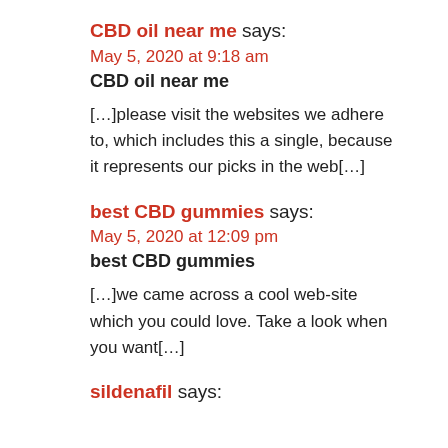CBD oil near me says:
May 5, 2020 at 9:18 am
CBD oil near me
[…]please visit the websites we adhere to, which includes this a single, because it represents our picks in the web[…]
best CBD gummies says:
May 5, 2020 at 12:09 pm
best CBD gummies
[…]we came across a cool web-site which you could love. Take a look when you want[…]
sildenafil says: